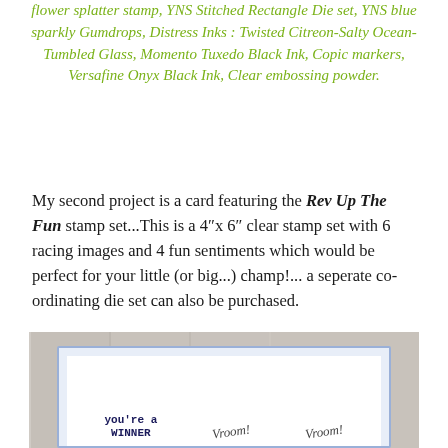flower splatter stamp, YNS Stitched Rectangle Die set, YNS blue sparkly Gumdrops, Distress Inks : Twisted Citreon-Salty Ocean-Tumbled Glass, Momento Tuxedo Black Ink, Copic markers, Versafine Onyx Black Ink, Clear embossing powder.
My second project is a card featuring the Rev Up The Fun stamp set...This is a 4"x 6" clear stamp set with 6 racing images and 4 fun sentiments which would be perfect for your little (or big...) champ!... a seperate co-ordinating die set can also be purchased.
[Figure (photo): Photo of a handmade card on a wooden surface. The card has a blue dotted border with a white inner panel. Text on the card reads 'you're a WINNER' on the left and 'Vroom! Vroom!' on the right.]